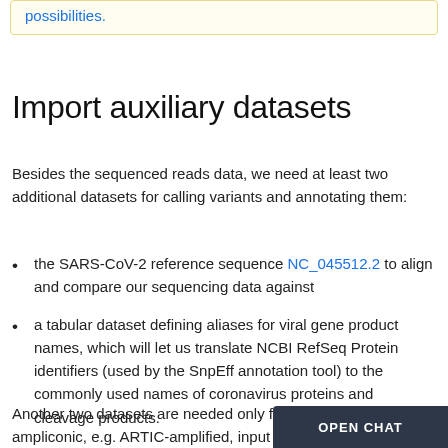possibilities.
Import auxiliary datasets
Besides the sequenced reads data, we need at least two additional datasets for calling variants and annotating them:
the SARS-CoV-2 reference sequence NC_045512.2 to align and compare our sequencing data against
a tabular dataset defining aliases for viral gene product names, which will let us translate NCBI RefSeq Protein identifiers (used by the SnpEff annotation tool) to the commonly used names of coronavirus proteins and cleavage products.
Another two datasets are needed only for the analysis of ampliconic, e.g. ARTIC-amplified, input